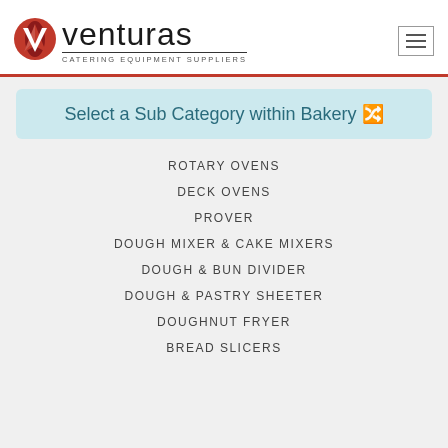[Figure (logo): Venturas Catering Equipment Suppliers logo with red circular V icon and text]
Select a Sub Category within Bakery
ROTARY OVENS
DECK OVENS
PROVER
DOUGH MIXER & CAKE MIXERS
DOUGH & BUN DIVIDER
DOUGH & PASTRY SHEETER
DOUGHNUT FRYER
BREAD SLICERS